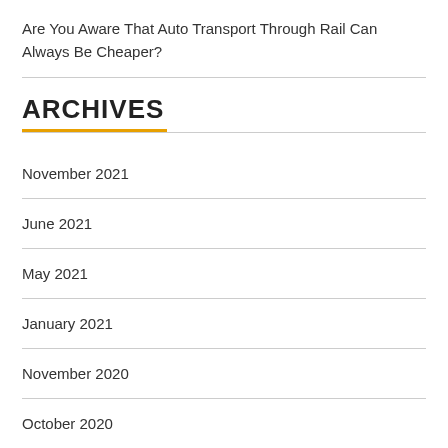Are You Aware That Auto Transport Through Rail Can Always Be Cheaper?
ARCHIVES
November 2021
June 2021
May 2021
January 2021
November 2020
October 2020